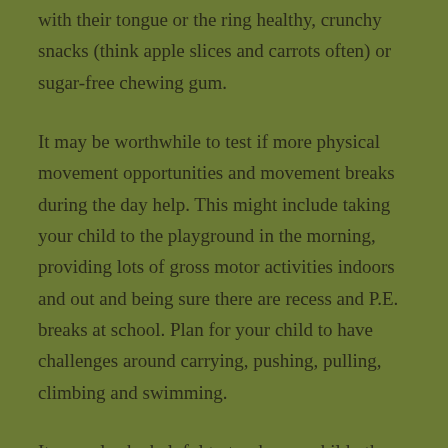with their tongue or the ring healthy, crunchy snacks (think apple slices and carrots often) or sugar-free chewing gum.
It may be worthwhile to test if more physical movement opportunities and movement breaks during the day help. This might include taking your child to the playground in the morning, providing lots of gross motor activities indoors and out and being sure there are recess and P.E. breaks at school. Plan for your child to have challenges around carrying, pushing, pulling, climbing and swimming.
It may also be helpful to teach your child other ways to self soothe. This may be deep breathing, slow or backward counting, visualization.